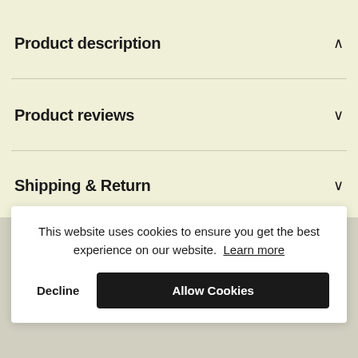Product description
Product reviews
Shipping & Return
This website uses cookies to ensure you get the best experience on our website. Learn more
Decline
Allow Cookies